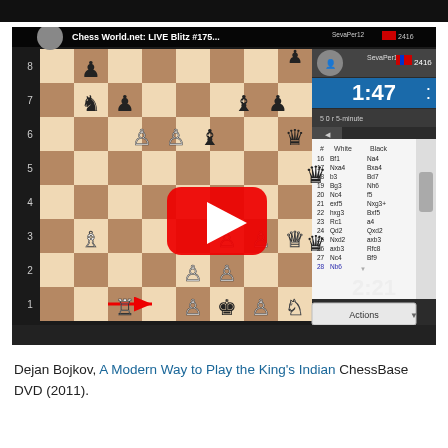[Figure (screenshot): Screenshot of a YouTube-style chess live blitz game video titled 'Chess World.net: LIVE Blitz #175...' showing a chess board position with pieces, move list panel on right showing moves 16-28, player names KingsCrusher (2274) and SevaPer12 (2416), timers showing 2:21 and 1:47, with a red play button overlay in the center.]
Dejan Bojkov, A Modern Way to Play the King's Indian ChessBase DVD (2011).